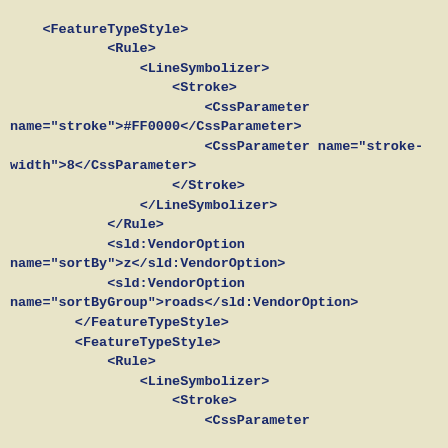<FeatureTypeStyle>
            <Rule>
                <LineSymbolizer>
                    <Stroke>
                        <CssParameter name="stroke">#FF0000</CssParameter>
                        <CssParameter name="stroke-width">8</CssParameter>
                    </Stroke>
                </LineSymbolizer>
            </Rule>
            <sld:VendorOption name="sortBy">z</sld:VendorOption>
            <sld:VendorOption name="sortByGroup">roads</sld:VendorOption>
        </FeatureTypeStyle>
        <FeatureTypeStyle>
            <Rule>
                <LineSymbolizer>
                    <Stroke>
                        <CssParameter